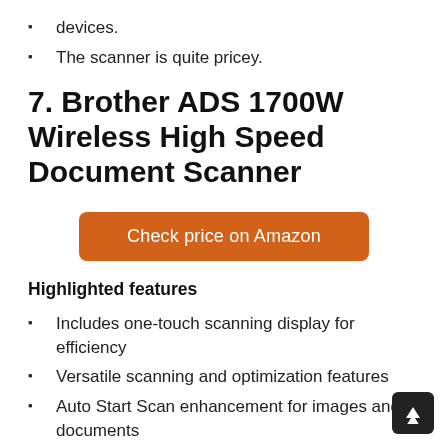devices.
The scanner is quite pricey.
7. Brother ADS 1700W Wireless High Speed Document Scanner
Check price on Amazon
Highlighted features
Includes one-touch scanning display for efficiency
Versatile scanning and optimization features
Auto Start Scan enhancement for images and documents